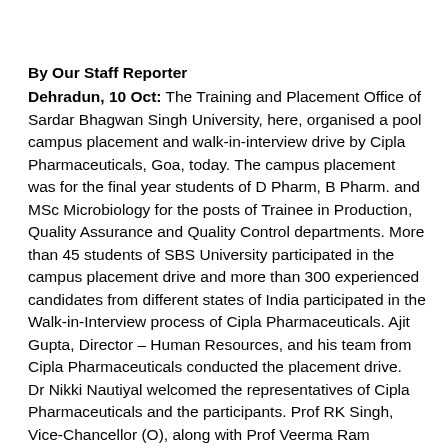By Our Staff Reporter
Dehradun, 10 Oct: The Training and Placement Office of Sardar Bhagwan Singh University, here, organised a pool campus placement and walk-in-interview drive by Cipla Pharmaceuticals, Goa, today. The campus placement was for the final year students of D Pharm, B Pharm. and MSc Microbiology for the posts of Trainee in Production, Quality Assurance and Quality Control departments. More than 45 students of SBS University participated in the campus placement drive and more than 300 experienced candidates from different states of India participated in the Walk-in-Interview process of Cipla Pharmaceuticals. Ajit Gupta, Director – Human Resources, and his team from Cipla Pharmaceuticals conducted the placement drive. Dr Nikki Nautiyal welcomed the representatives of Cipla Pharmaceuticals and the participants. Prof RK Singh, Vice-Chancellor (O), along with Prof Veerma Ram (Director, School of